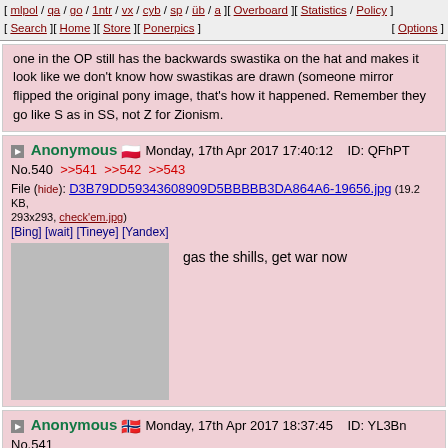mlpol / qa / go / 1ntr / vx / cyb / sp / üb / a  Overboard  Statistics / Policy  Search  Home  Store  Ponerpics  Options
one in the OP still has the backwards swastika on the hat and makes it look like we don't know how swastikas are drawn (someone mirror flipped the original pony image, that's how it happened. Remember they go like S as in SS, not Z for Zionism.
Anonymous  Monday, 17th Apr 2017 17:40:12   ID: QFhPT
No.540  >>541  >>542  >>543
File (hide): D3B79DD59343608909D5BBBBB3DA864A6-19656.jpg (19.2 KB, 293x293, check'em.jpg)
[Bing] [wait] [Tineye] [Yandex]
gas the shills, get war now
Anonymous  Monday, 17th Apr 2017 18:37:45   ID: YL3Bn
No.541
File (hide): CA3B2BBB718B693BF8F2074144E31978-387607.png (378.5 KB, 800x740, 1491353091134.png)
[Bing] [wait] [Tineye] [Yandex]